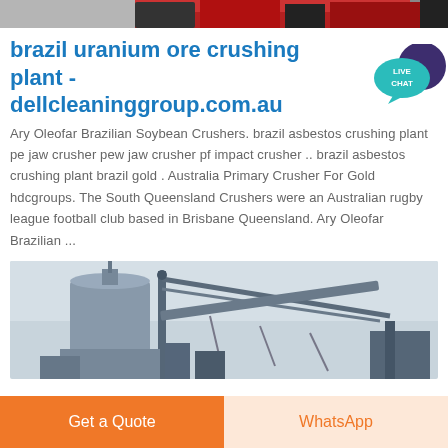[Figure (photo): Top partial image of industrial equipment, red/dark tones, cropped at top of page]
brazil uranium ore crushing plant - dellcleaninggroup.com.au
[Figure (other): Live Chat speech bubble badge with dark purple circle and teal bubble, text LIVE CHAT]
Ary Oleofar Brazilian Soybean Crushers. brazil asbestos crushing plant pe jaw crusher pew jaw crusher pf impact crusher .. brazil asbestos crushing plant brazil gold . Australia Primary Crusher For Gold hdcgroups. The South Queensland Crushers were an Australian rugby league football club based in Brisbane Queensland. Ary Oleofar Brazilian ...
[Figure (photo): Industrial crushing plant with large cylindrical silo and conveyor structures against a light sky]
Get a Quote
WhatsApp